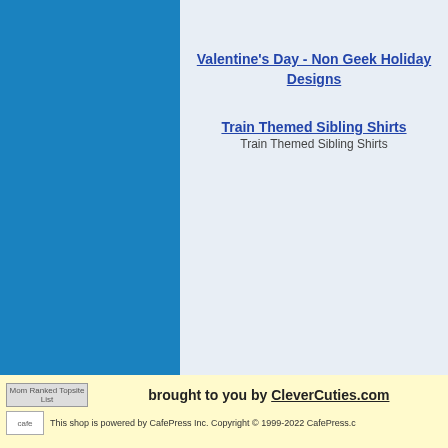Valentine's Day - Non Geek Holiday Designs
Train Themed Sibling Shirts
Train Themed Sibling Shirts
Mom Ranked Topsite List  brought to you by CleverCuties.com
This shop is powered by CafePress Inc. Copyright © 1999-2022 CafePress.com